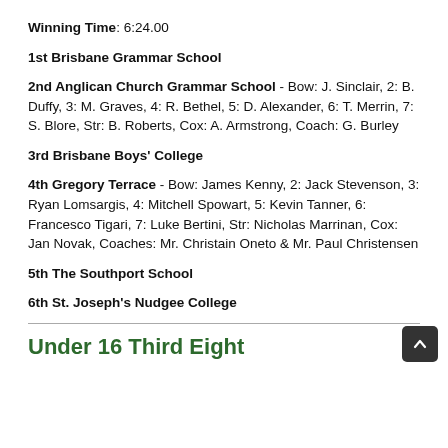Winning Time: 6:24.00
1st Brisbane Grammar School
2nd Anglican Church Grammar School - Bow: J. Sinclair, 2: B. Duffy, 3: M. Graves, 4: R. Bethel, 5: D. Alexander, 6: T. Merrin, 7: S. Blore, Str: B. Roberts, Cox: A. Armstrong, Coach: G. Burley
3rd Brisbane Boys' College
4th Gregory Terrace - Bow: James Kenny, 2: Jack Stevenson, 3: Ryan Lomsargis, 4: Mitchell Spowart, 5: Kevin Tanner, 6: Francesco Tigari, 7: Luke Bertini, Str: Nicholas Marrinan, Cox: Jan Novak, Coaches: Mr. Christain Oneto & Mr. Paul Christensen
5th The Southport School
6th St. Joseph's Nudgee College
Under 16 Third Eight